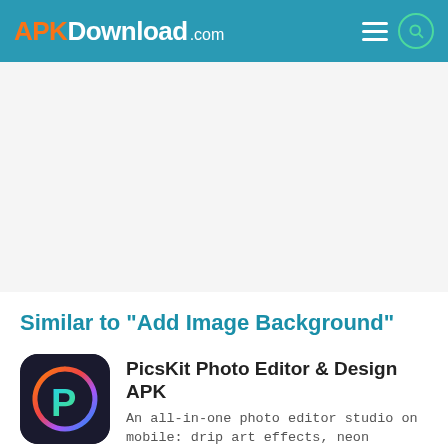APKDownload.com
[Figure (other): Advertisement banner area (blank/white space)]
Similar to "Add Image Background"
[Figure (logo): PicsKit Photo Editor & Design APK app icon — dark background with colorful P letter logo]
PicsKit Photo Editor & Design APK
An all-in-one photo editor studio on mobile: drip art effects, neon
10M+